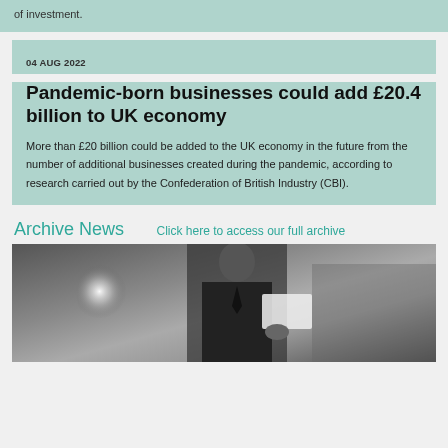of investment.
04 AUG 2022
Pandemic-born businesses could add £20.4 billion to UK economy
More than £20 billion could be added to the UK economy in the future from the number of additional businesses created during the pandemic, according to research carried out by the Confederation of British Industry (CBI).
Archive News
Click here to access our full archive
[Figure (photo): Black and white photograph of a businessman in a suit reading a document, with a bright light in the background.]